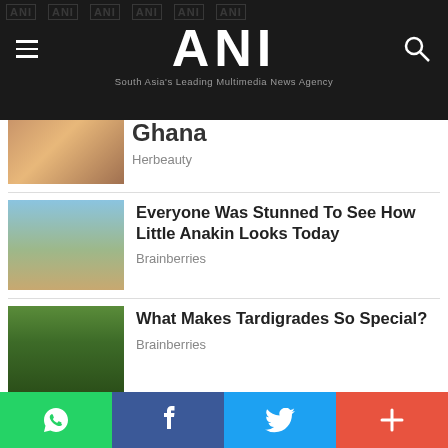[Figure (screenshot): ANI news website header with logo, hamburger menu, search icon, and tagline 'South Asia's Leading Multimedia News Agency']
[Figure (photo): Partial article thumbnail showing desert/outdoor scene]
Ghana
Herbeauty
[Figure (photo): Article thumbnail showing young Anakin Skywalker from Star Wars]
Everyone Was Stunned To See How Little Anakin Looks Today
Brainberries
[Figure (photo): Article thumbnail showing close-up of tardigrades on moss]
What Makes Tardigrades So Special?
Brainberries
Abhay then explained through word
[Figure (other): Social sharing bar with WhatsApp, Facebook, Twitter, and More buttons]